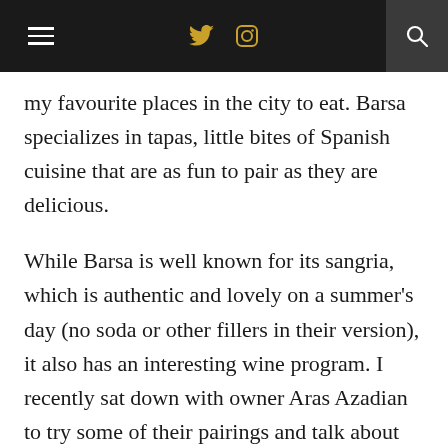≡  🐦  📷  🔍
my favourite places in the city to eat. Barsa specializes in tapas, little bites of Spanish cuisine that are as fun to pair as they are delicious.
While Barsa is well known for its sangria, which is authentic and lovely on a summer's day (no soda or other fillers in their version), it also has an interesting wine program. I recently sat down with owner Aras Azadian to try some of their pairings and talk about what makes Barsa Taberna a great option for someone who wants to learn about Spanish wine and food.